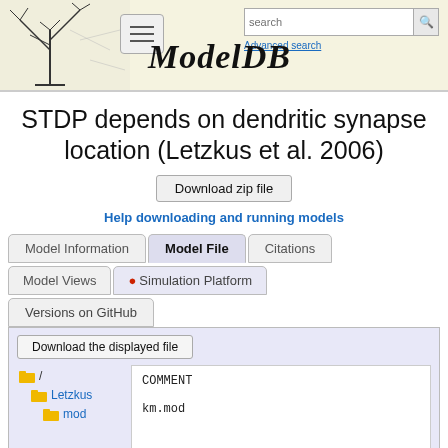[Figure (screenshot): ModelDB website header with tree illustration, hamburger menu, search bar, ModelDB italic title, and Advanced search link]
STDP depends on dendritic synapse location (Letzkus et al. 2006)
Download zip file
Help downloading and running models
Model Information | Model File | Citations | Model Views | Simulation Platform | Versions on GitHub
Download the displayed file
/ Letzkus mod
COMMENT

km.mod